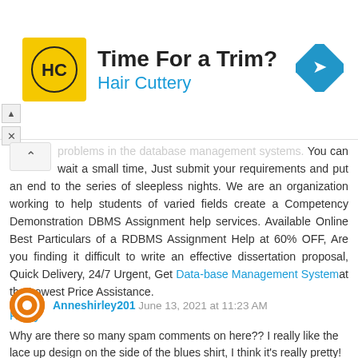[Figure (illustration): Advertisement banner for Hair Cuttery with yellow logo, text 'Time For a Trim?' and 'Hair Cuttery' in blue, and a blue navigation/direction sign icon on the right.]
problems in the database management systems. You can wait a small time, Just submit your requirements and put an end to the series of sleepless nights. We are an organization working to help students of varied fields create a Competency Demonstration DBMS Assignment help services. Available Online Best Particulars of a RDBMS Assignment Help at 60% OFF, Are you finding it difficult to write an effective dissertation proposal, Quick Delivery, 24/7 Urgent, Get Data-base Management System at the Lowest Price Assistance.
Reply
Anneshirley201  June 13, 2021 at 11:23 AM
Why are there so many spam comments on here?? I really like the lace up design on the side of the blues shirt, I think it's really pretty!